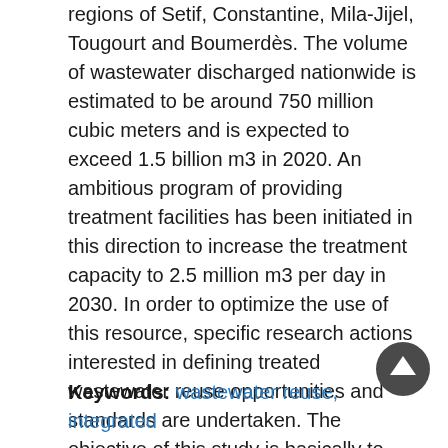regions of Setif, Constantine, Mila-Jijel, Tougourt and Boumerdès. The volume of wastewater discharged nationwide is estimated to be around 750 million cubic meters and is expected to exceed 1.5 billion m3 in 2020. An ambitious program of providing treatment facilities has been initiated in this direction to increase the treatment capacity to 2.5 million m3 per day in 2030. In order to optimize the use of this resource, specific research actions interested in defining treated wastewater reuse opportunities and standards are undertaken. The objective of this study is basically to examine the different components of treated wastewater reuse, including standards, treatment processes, agricultural opportunities and potentials as well as technical and economic aspects governing the feasibility of this technology in Algeria based on Geographic Information System (GIS).
Keywords: wastewater reuse, integrated